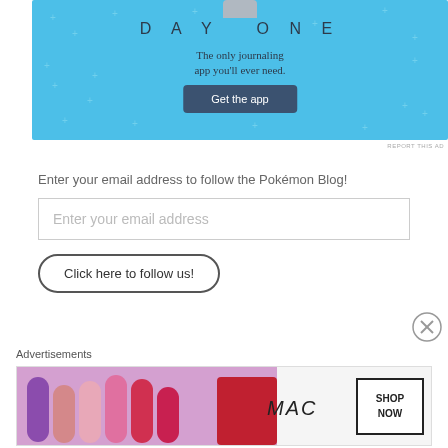[Figure (screenshot): Day One journaling app advertisement banner with light blue background, showing 'DAY ONE' title, subtitle 'The only journaling app you'll ever need.' and a 'Get the app' button]
REPORT THIS AD
Enter your email address to follow the Pokémon Blog!
Enter your email address
Click here to follow us!
[Figure (screenshot): Close button circle with X]
Advertisements
[Figure (screenshot): MAC cosmetics advertisement showing lipsticks and MAC logo with SHOP NOW box]